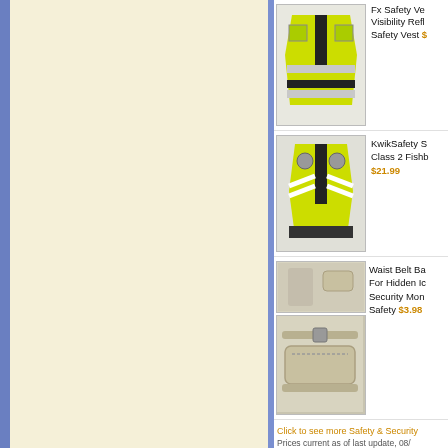[Figure (photo): Left panel with cream/ivory textured background and blue left border bar]
[Figure (photo): Product listing: Fx Safety Vest High Visibility Reflective Safety Vest with yellow/black vest image]
Fx Safety Vest High Visibility Reflective Safety Vest $
[Figure (photo): Product listing: KwikSafety Class 2 Fishbone safety vest in yellow/black]
KwikSafety S Class 2 Fishb $21.99
[Figure (photo): Product listing: Waist Belt Bag for Hidden money security]
Waist Belt Ba For Hidden Ic Security Mon Safety $3.98
Click to see more Safety & Security
Prices current as of last update, 08/